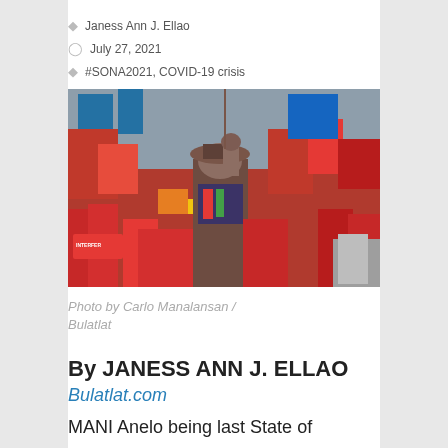Janess Ann J. Ellao
July 27, 2021
#SONA2021, COVID-19 crisis
[Figure (photo): Large protest rally with crowd of people wearing red, carrying red flags, banners and signs. A central figure in colorful indigenous attire raises a fist. Signs include 'INTERFER'.]
Photo by Carlo Manalansan / Bulatlat
By JANESS ANN J. ELLAO
Bulatlat.com
MANI Anelo being last State of...